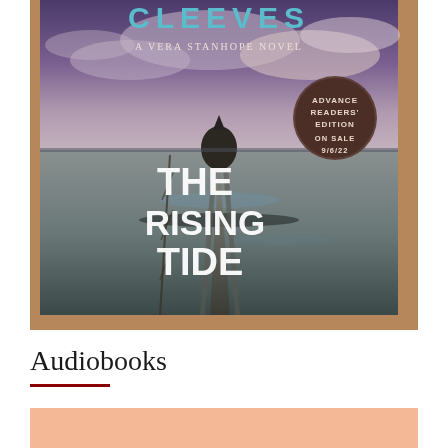[Figure (photo): Photo of a book cover: 'The Rising Tide' by Ann Cleeves, A Vera Stanhope Novel. Shows a dramatic coastal landscape with a tidal road leading to a rock formation under a stormy sky. An advance readers' edition stamp shows 'ON SALE 9/6/22'.]
Audiobooks
[Figure (other): Peach/salmon colored rectangle, partial view of an audiobook cover image]